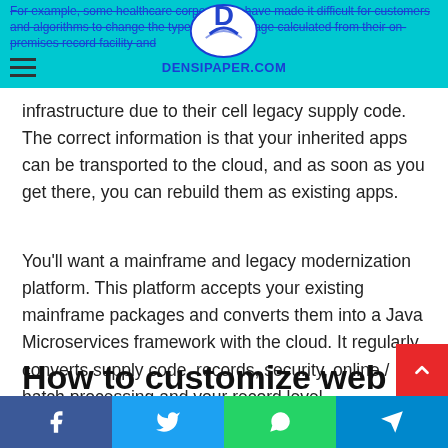DENSIPAPER.COM
For example, some healthcare corporations have made it difficult for customers and algorithms to change the type of cell package calculated from their on-premises record facility and infrastructure due to their cell legacy supply code. The correct information is that your inherited apps can be transported to the cloud, and as soon as you get there, you can rebuild them as existing apps.
You'll want a mainframe and legacy modernization platform. This platform accepts your existing mainframe packages and converts them into a Java Microservices framework with the cloud. It regularly converts supply code, records, security, online / batch processing and your record level.
How to customize web